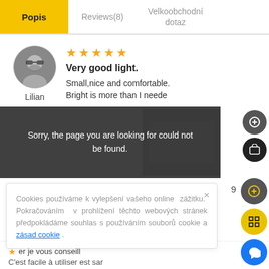Popis | Reviews(8) | Velkoobchodní dotaz
[Figure (photo): User avatar photo of Lilian, circular crop showing a bearded man with sunglasses]
Lilian
★★★★★
Very good light.
Small,nice and comfortable. Bright is more than I neede
Sorry, the page you are looking for could not be found.
9
× Cookies používáme k vylepšení vašeho online zážitku. Pokračováním v prohlížení těchto webových stránek předpokládáme souhlas s používáním souborů cookie a zásad cookie .
er je vous conseill
C'est facile à utiliser est sar